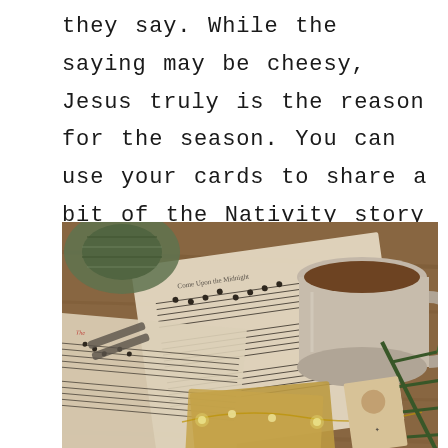they say. While the saying may be cheesy, Jesus truly is the reason for the season. You can use your cards to share a bit of the Nativity story or tell others how God has worked in your life in the past year.
[Figure (photo): Overhead view of sheet music, a mug of coffee/hot chocolate, a spool of twine, glasses, yellow greeting cards, fairy lights, and pine branches on a wooden surface — a cozy Christmas holiday arrangement.]